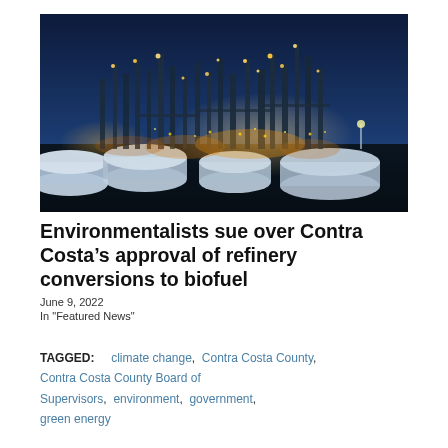[Figure (photo): Night aerial view of an industrial oil refinery with bright lights illuminating towers, pipes, and large white storage tanks under a blue twilight sky.]
Environmentalists sue over Contra Costa’s approval of refinery conversions to biofuel
June 9, 2022
In "Featured News"
TAGGED:    climate change,  Contra Costa County,  Contra Costa County Board of Supervisors,  environment,  government,  green energy